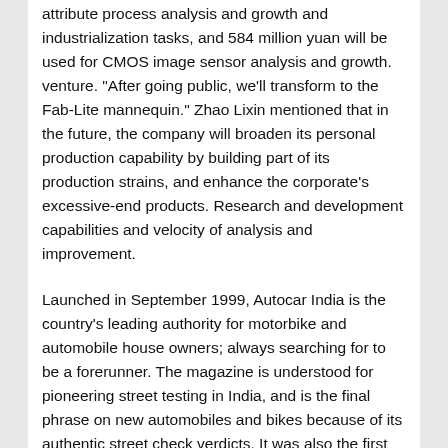attribute process analysis and growth and industrialization tasks, and 584 million yuan will be used for CMOS image sensor analysis and growth. venture. "After going public, we'll transform to the Fab-Lite mannequin." Zhao Lixin mentioned that in the future, the company will broaden its personal production capability by building part of its production strains, and enhance the corporate's excessive-end products. Research and development capabilities and velocity of analysis and improvement.
Launched in September 1999, Autocar India is the country's leading authority for motorbike and automobile house owners; always searching for to be a forerunner. The magazine is understood for pioneering street testing in India, and is the final phrase on new automobiles and bikes because of its authentic street check verdicts. It was also the first journal to discover the Tata Nano, and showcase its interiors. Other magazines are envious of its fame for exemplary editorial content, as well as excessive production standards with the journal receiving accolades from each the industry and consumers alike.